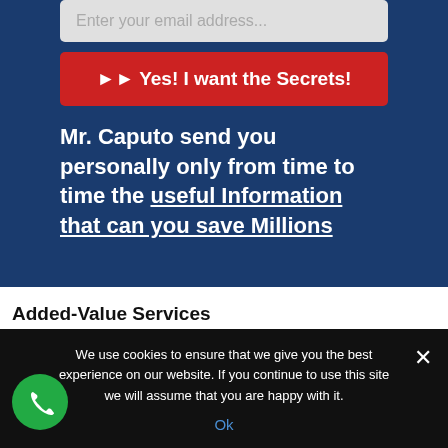Enter your email address...
►► Yes! I want the Secrets!
Mr. Caputo send you personally only from time to time the useful Information that can you save Millions
Added-Value Services
BancaStato increased its mortgage loans my more
We use cookies to ensure that we give you the best experience on our website. If you continue to use this site we will assume that you are happy with it.
Ok